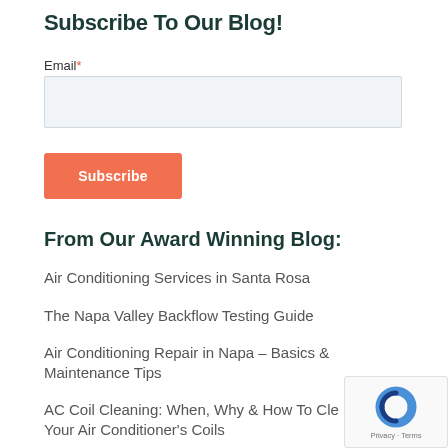Subscribe To Our Blog!
Email*
Subscribe
From Our Award Winning Blog:
Air Conditioning Services in Santa Rosa
The Napa Valley Backflow Testing Guide
Air Conditioning Repair in Napa – Basics & Maintenance Tips
AC Coil Cleaning: When, Why & How To Clean Your Air Conditioner's Coils